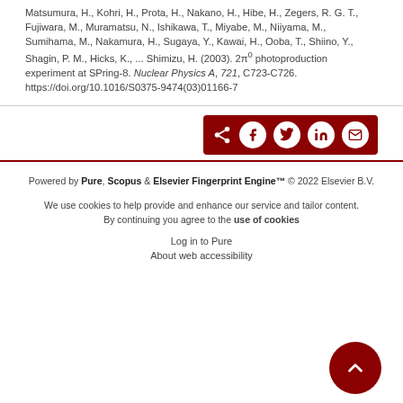Matsumura, H., Kohri, H., Prota, H., Nakano, H., Hibe, H., Zegers, R. G. T., Fujiwara, M., Muramatsu, N., Ishikawa, T., Miyabe, M., Niiyama, M., Sumihama, M., Nakamura, H., Sugaya, Y., Kawai, H., Ooba, T., Shiino, Y., Shagin, P. M., Hicks, K., ... Shimizu, H. (2003). 2π⁰ photoproduction experiment at SPring-8. Nuclear Physics A, 721, C723-C726. https://doi.org/10.1016/S0375-9474(03)01166-7
[Figure (other): Social share buttons bar with dark red background: share icon, Facebook, Twitter, LinkedIn, Email buttons]
Powered by Pure, Scopus & Elsevier Fingerprint Engine™ © 2022 Elsevier B.V.
We use cookies to help provide and enhance our service and tailor content. By continuing you agree to the use of cookies
Log in to Pure
About web accessibility